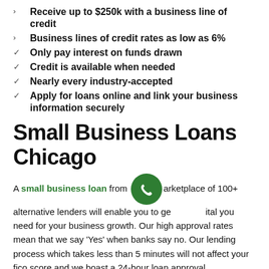Receive up to $250k with a business line of credit
Business lines of credit rates as low as 6%
Only pay interest on funds drawn
Credit is available when needed
Nearly every industry-accepted
Apply for loans online and link your business information securely
Small Business Loans Chicago
A small business loan from our marketplace of 100+ alternative lenders will enable you to get the capital you need for your business growth. Our high approval rates mean that we say ‘Yes’ when banks say no. Our lending process which takes less than 5 minutes will not affect your fico score and we boast a 24-hour loan approval.
Get up to $500k in business funding within 24 hours